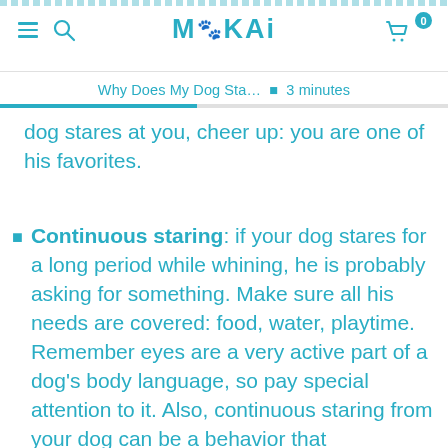MoKai — Why Does My Dog Sta… • 3 minutes
dog stares at you, cheer up: you are one of his favorites.
Continuous staring: if your dog stares for a long period while whining, he is probably asking for something. Make sure all his needs are covered: food, water, playtime. Remember eyes are a very active part of a dog's body language, so pay special attention to it. Also, continuous staring from your dog can be a behavior that